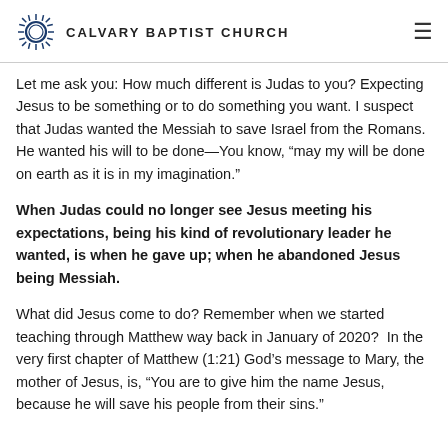CALVARY BAPTIST CHURCH
Let me ask you: How much different is Judas to you? Expecting Jesus to be something or to do something you want. I suspect that Judas wanted the Messiah to save Israel from the Romans. He wanted his will to be done—You know, “may my will be done on earth as it is in my imagination.”
When Judas could no longer see Jesus meeting his expectations, being his kind of revolutionary leader he wanted, is when he gave up; when he abandoned Jesus being Messiah.
What did Jesus come to do? Remember when we started teaching through Matthew way back in January of 2020?  In the very first chapter of Matthew (1:21) God’s message to Mary, the mother of Jesus, is, “You are to give him the name Jesus, because he will save his people from their sins.”